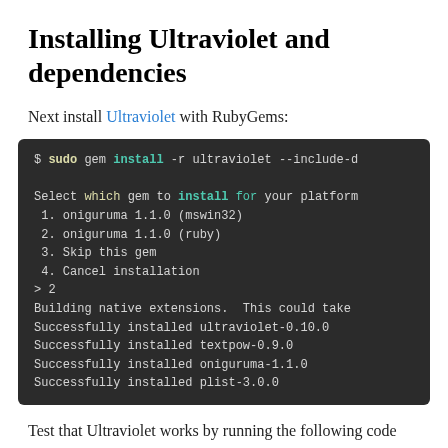Installing Ultraviolet and dependencies
Next install Ultraviolet with RubyGems:
[Figure (screenshot): Terminal/code block showing: $ sudo gem install -r ultraviolet --include-d
Select which gem to install for your platform
 1. oniguruma 1.1.0 (mswin32)
 2. oniguruma 1.1.0 (ruby)
 3. Skip this gem
 4. Cancel installation
> 2
Building native extensions.  This could take
Successfully installed ultraviolet-0.10.0
Successfully installed textpow-0.9.0
Successfully installed oniguruma-1.1.0
Successfully installed plist-3.0.0]
Test that Ultraviolet works by running the following code